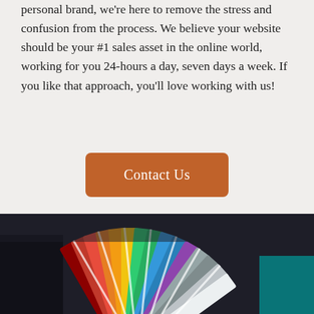personal brand, we're here to remove the stress and confusion from the process. We believe your website should be your #1 sales asset in the online world, working for you 24-hours a day, seven days a week. If you like that approach, you'll love working with us!
Contact Us
[Figure (photo): Close-up photo of a color swatch fan book with multiple colored strips fanned out, showing various colors including reds, blues, greens, and neutrals, on a dark background with a teal surface visible.]